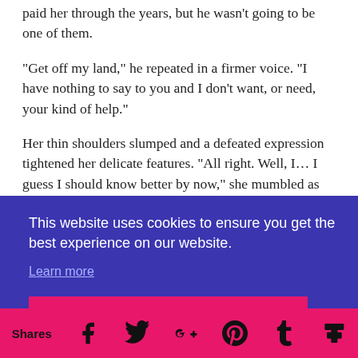paid her through the years, but he wasn't going to be one of them.
“Get off my land,” he repeated in a firmer voice. “I have nothing to say to you and I don’t want, or need, your kind of help.”
Her thin shoulders slumped and a defeated expression tightened her delicate features. “All right. Well, I… I guess I should know better by now,” she mumbled as she turned to
face
his
[Figure (screenshot): Cookie consent banner with dark blue/purple background. Text: 'This website uses cookies to ensure you get the best experience on our website.' with a 'Learn more' link and a pink 'Got it!' button.]
Shares  [Facebook] [Twitter] [Google+] [Pinterest] [Tumblr] [Mix]